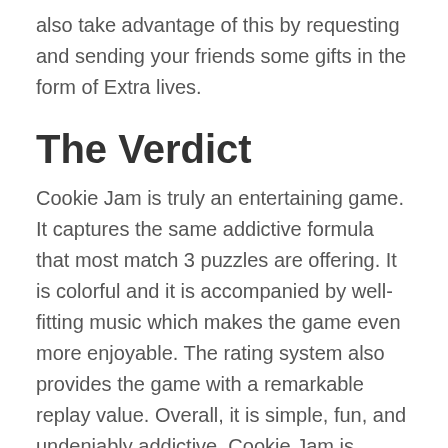also take advantage of this by requesting and sending your friends some gifts in the form of Extra lives.
The Verdict
Cookie Jam is truly an entertaining game. It captures the same addictive formula that most match 3 puzzles are offering. It is colorful and it is accompanied by well-fitting music which makes the game even more enjoyable. The rating system also provides the game with a remarkable replay value. Overall, it is simple, fun, and undeniably addictive. Cookie Jam is currently available on both Android and iOS devices and you can download this game absolutely for free. Cheers!
Download Cookie Jam